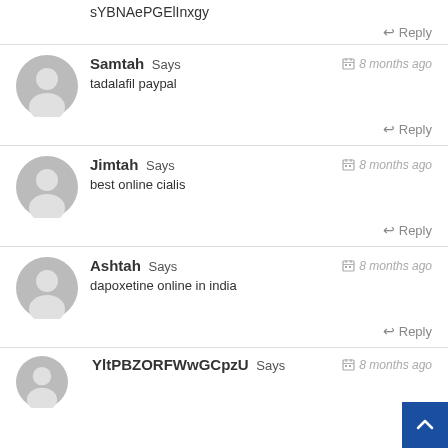sYBNAePGElInxgy
↩ Reply
Samtah Says — 8 months ago
tadalafil paypal
↩ Reply
Jimtah Says — 8 months ago
best online cialis
↩ Reply
Ashtah Says — 8 months ago
dapoxetine online in india
↩ Reply
YltPBZORFWwGCpzU Says — 8 months ago